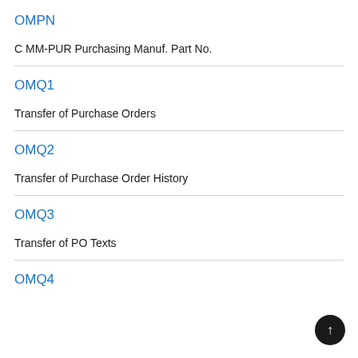OMPN
C MM-PUR Purchasing Manuf. Part No.
OMQ1
Transfer of Purchase Orders
OMQ2
Transfer of Purchase Order History
OMQ3
Transfer of PO Texts
OMQ4